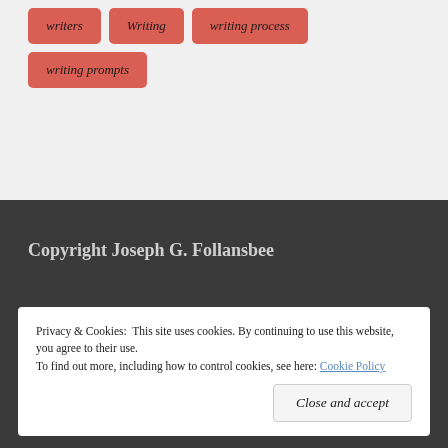writers
Writing
writing process
writing prompts
Copyright Joseph G. Follansbee
Privacy & Cookies: This site uses cookies. By continuing to use this website, you agree to their use.
To find out more, including how to control cookies, see here: Cookie Policy
Close and accept